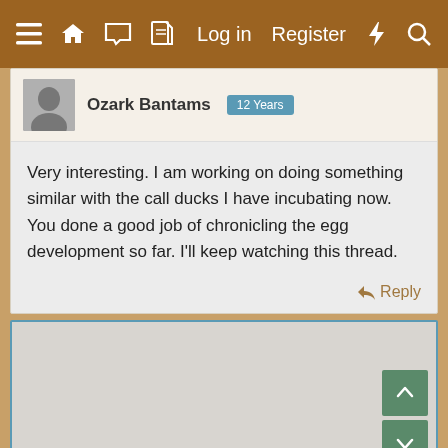Log in  Register
Ozark Bantams  12 Years
Very interesting. I am working on doing something similar with the call ducks I have incubating now. You done a good job of chronicling the egg development so far. I'll keep watching this thread.
Reply